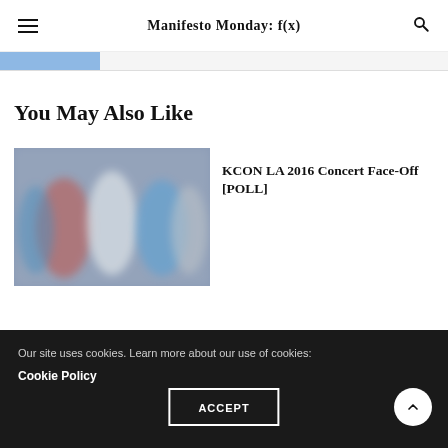Manifesto Monday: f(x)
You May Also Like
[Figure (photo): Blurred group photo of people in colorful outfits]
KCON LA 2016 Concert Face-Off [POLL]
Our site uses cookies. Learn more about our use of cookies: Cookie Policy
ACCEPT